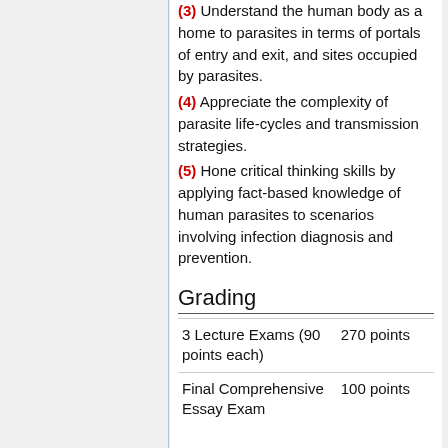(3) Understand the human body as a home to parasites in terms of portals of entry and exit, and sites occupied by parasites.
(4) Appreciate the complexity of parasite life-cycles and transmission strategies.
(5) Hone critical thinking skills by applying fact-based knowledge of human parasites to scenarios involving infection diagnosis and prevention.
Grading
|  |  |
| --- | --- |
| 3 Lecture Exams (90 points each) | 270 points |
| Final Comprehensive Essay Exam | 100 points |